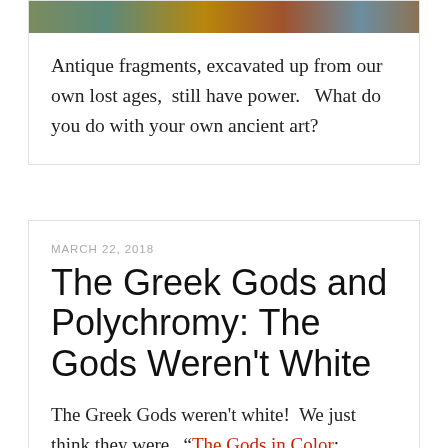[Figure (photo): Cropped colorful artwork image strip at top of first card]
Antique fragments, excavated up from our own lost ages,  still have power.   What do you do with your own ancient art?
MARCH 22, 2018
The Greek Gods and Polychromy: The Gods Weren't White
The Greek Gods weren't white!  We just think they were.  "The Gods in Color: